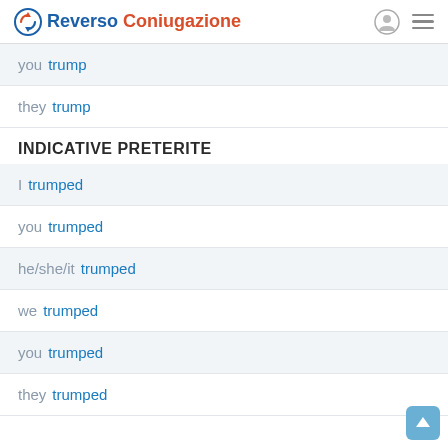Reverso Coniugazione
you trump
they trump
INDICATIVE PRETERITE
I trumped
you trumped
he/she/it trumped
we trumped
you trumped
they trumped